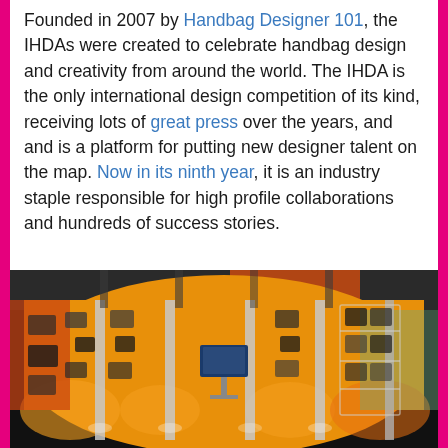Founded in 2007 by Handbag Designer 101, the IHDAs were created to celebrate handbag design and creativity from around the world. The IHDA is the only international design competition of its kind, receiving lots of great press over the years, and and is a platform for putting new designer talent on the map. Now in its ninth year, it is an industry staple responsible for high profile collaborations and hundreds of success stories.
[Figure (photo): Interior of a handbag exhibition or showroom. Yellow-orange curved walls display numerous handbags mounted on the walls. Tall white display stands/columns are arranged in the space. A monitor/screen is visible in the center. The ceiling has exposed beams with orange and dark accents. The space is warmly lit with uplighting on the walls.]